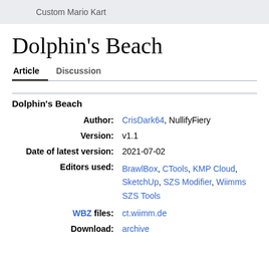Custom Mario Kart
Dolphin's Beach
Article   Discussion
| Field | Value |
| --- | --- |
| Author: | CrisDark64, NullifyFiery |
| Version: | v1.1 |
| Date of latest version: | 2021-07-02 |
| Editors used: | BrawlBox, CTools, KMP Cloud, SketchUp, SZS Modifier, Wiimms SZS Tools |
| WBZ files: | ct.wiimm.de |
| Download: | archive |